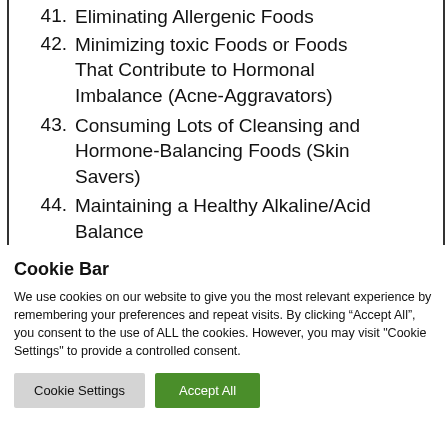41. Eliminating Allergenic Foods
42. Minimizing toxic Foods or Foods That Contribute to Hormonal Imbalance (Acne-Aggravators)
43. Consuming Lots of Cleansing and Hormone-Balancing Foods (Skin Savers)
44. Maintaining a Healthy Alkaline/Acid Balance
Cookie Bar
We use cookies on our website to give you the most relevant experience by remembering your preferences and repeat visits. By clicking “Accept All”, you consent to the use of ALL the cookies. However, you may visit "Cookie Settings" to provide a controlled consent.
Cookie Settings | Accept All